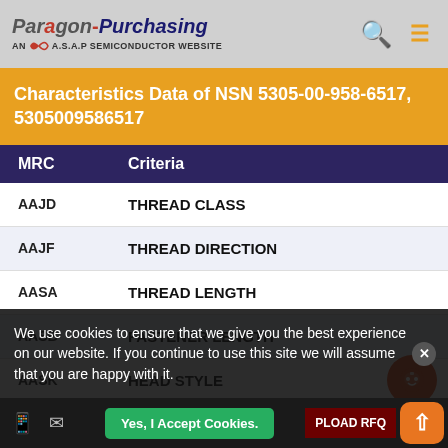Paragon Purchasing — AN A.S.A.P SEMICONDUCTOR WEBSITE
Characteristics Data of NSN 5305-00-958-6517, 5305009586517
| MRC | Criteria |
| --- | --- |
| AAJD | THREAD CLASS |
| AAJF | THREAD DIRECTION |
| AASA | THREAD LENGTH |
| AASB | FASTENER LENGTH |
| AASK | HEAD STYLE |
| AASL | HEAD DIAMETER |
| AASU | HEAD HEIGHT |